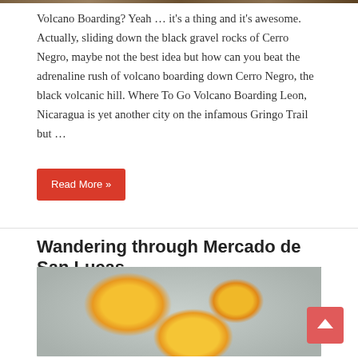[Figure (photo): Top strip — partial image visible at very top of page]
Volcano Boarding? Yeah … it's a thing and it's awesome.  Actually, sliding down the black gravel rocks of Cerro Negro, maybe not the best idea but how can you beat the adrenaline rush of volcano boarding down Cerro Negro, the black volcanic hill. Where To Go Volcano Boarding Leon, Nicaragua is yet another city on the infamous Gringo Trail but …
Read More »
Wandering through Mercado de San Lucas
[Figure (photo): Close-up photo of fried eggs or similar round yellow food items cooking in oil, with a dark burnt area in the upper right corner]